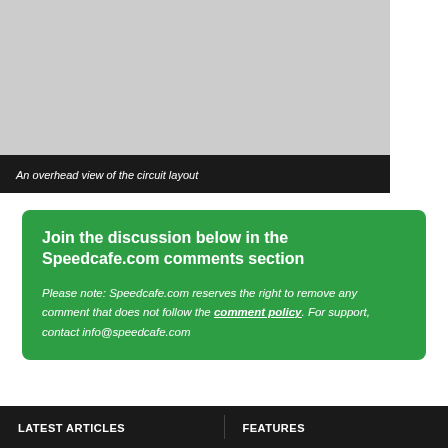[Figure (photo): An overhead view of the circuit layout — image area shown as grey placeholder]
An overhead view of the circuit layout
Join the discussion below in the Speedcafe.com comments section

Please note: Speedcafe.com reserves the right to remove any comment that does not follow the comment policy. For support, contact info@speedcafe.com
LATEST ARTICLES   FEATURES